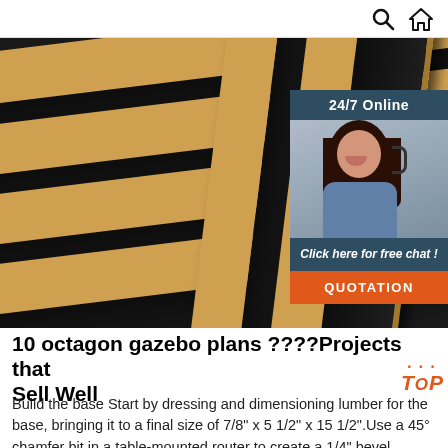Search | Home
[Figure (photo): Stacked black-faced plywood boards showing wood grain edges, with a customer service chat widget overlay in the top right showing '24/7 Online', a woman with a headset, 'Click here for free chat!' and a QUOTATION button]
10 octagon gazebo plans ????Projects that Sell Well
Build the base Start by dressing and dimensioning lumber for the base, bringing it to a final size of 7/8" x 5 1/2" x 15 1/2".Use a 45° chamfer bit in a table-mounted router to create a 1/4" bevel around the entire top edge of the base.